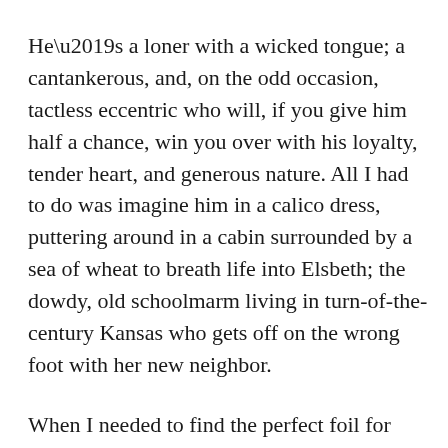He’s a loner with a wicked tongue; a cantankerous, and, on the odd occasion, tactless eccentric who will, if you give him half a chance, win you over with his loyalty, tender heart, and generous nature. All I had to do was imagine him in a calico dress, puttering around in a cabin surrounded by a sea of wheat to breath life into Elsbeth; the dowdy, old schoolmarm living in turn-of-the-century Kansas who gets off on the wrong foot with her new neighbor.
When I needed to find the perfect foil for Christian, Annie’s best friend who is burdened with a situational stutter, and a secret he hides from himself, I was inspired by another dear friend to create Edmond. Let’s call him “Sam”